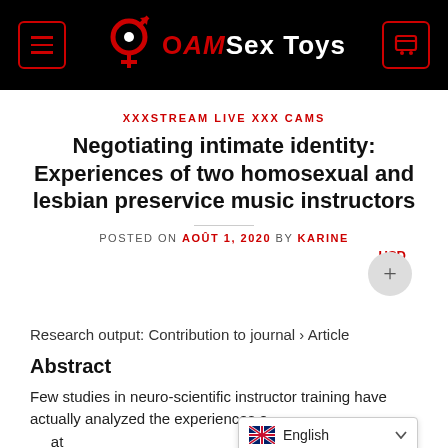OAM Sex Toys — site header with menu and cart icons
XXXSTREAM LIVE XXX CAMS
Negotiating intimate identity: Experiences of two homosexual and lesbian preservice music instructors
POSTED ON AOÛT 1, 2020 BY KARINE
Research output: Contribution to journal › Article
Abstract
Few studies in neuro-scientific instructor training have actually analyzed the experiences o... at